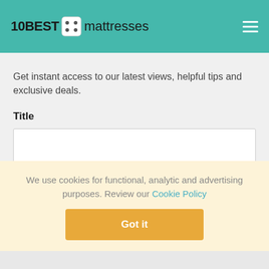10BEST mattresses
Get instant access to our latest views, helpful tips and exclusive deals.
Title
We use cookies for functional, analytic and advertising purposes. Review our Cookie Policy
Got it